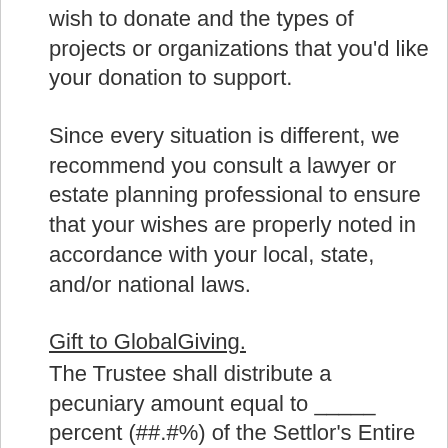wish to donate and the types of projects or organizations that you'd like your donation to support.
Since every situation is different, we recommend you consult a lawyer or estate planning professional to ensure that your wishes are properly noted in accordance with your local, state, and/or national laws.
Gift to GlobalGiving.
The Trustee shall distribute a pecuniary amount equal to _____ percent (##.#%) of the Settlor's Entire Estate to GlobalGiving Foundation ("GlobalGiving"), a nonprofit, non-stock Delaware